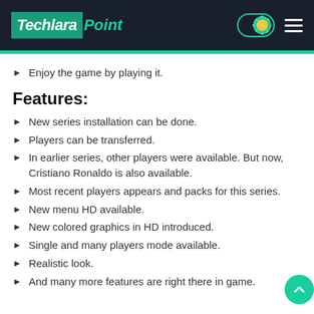TechlaraPoint
Enjoy the game by playing it.
Features:
New series installation can be done.
Players can be transferred.
In earlier series, other players were available. But now, Cristiano Ronaldo is also available.
Most recent players appears and packs for this series.
New menu HD available.
New colored graphics in HD introduced.
Single and many players mode available.
Realistic look.
And many more features are right there in game.